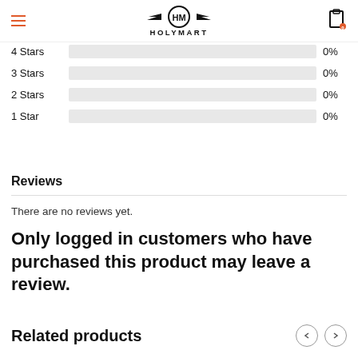HOLYMART
| Rating | Percentage |
| --- | --- |
| 4 Stars | 0% |
| 3 Stars | 0% |
| 2 Stars | 0% |
| 1 Star | 0% |
Reviews
There are no reviews yet.
Only logged in customers who have purchased this product may leave a review.
Related products